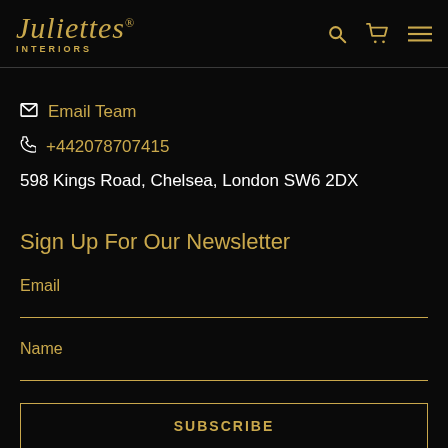Juliettes® INTERIORS
Email Team
+442078707415
598 Kings Road, Chelsea, London SW6 2DX
Sign Up For Our Newsletter
Email
Name
SUBSCRIBE